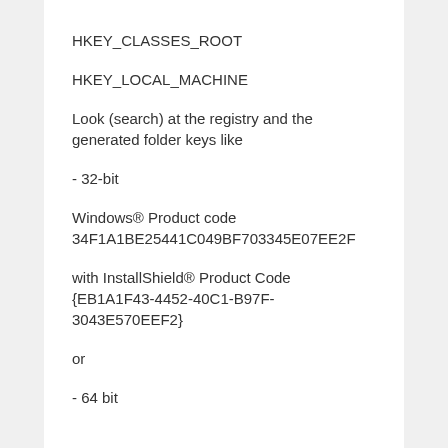HKEY_CLASSES_ROOT
HKEY_LOCAL_MACHINE
Look (search) at the registry and the generated folder keys like
- 32-bit
Windows® Product code 34F1A1BE25441C049BF703345E07EE2F
with InstallShield® Product Code {EB1A1F43-4452-40C1-B97F-3043E570EEF2}
or
- 64 bit